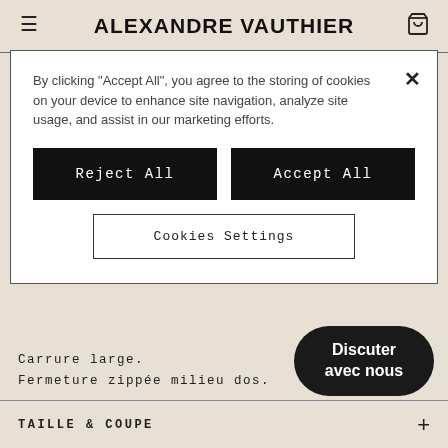ALEXANDRE VAUTHIER
By clicking "Accept All", you agree to the storing of cookies on your device to enhance site navigation, analyze site usage, and assist in our marketing efforts.
Reject All
Accept All
Cookies Settings
Carrure large.
Fermeture zippée milieu dos.
Coupe: ajustée et large aux épaules
Composition: 90% viscose 10% élasthanne
Nettoyage à sec
Fabriquée en Italie
Discuter avec nous
TAILLE & COUPE